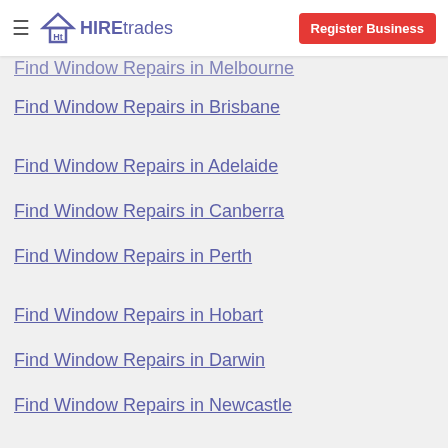HIREtrades | Register Business
Find Window Repairs in Melbourne
Find Window Repairs in Brisbane
Find Window Repairs in Adelaide
Find Window Repairs in Canberra
Find Window Repairs in Perth
Find Window Repairs in Hobart
Find Window Repairs in Darwin
Find Window Repairs in Newcastle